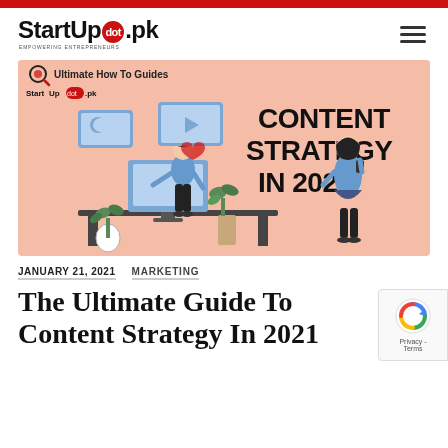StartUp dot pk — Empowering Entrepreneurs
[Figure (illustration): Content Strategy In 2021 hero banner with illustrated characters at a computer, media content icons, on a salmon/peach background. Text reads 'Ultimate How To Guides', 'StartUp dot pk', and 'CONTENT STRATEGY IN 2021'.]
JANUARY 21, 2021   MARKETING
The Ultimate Guide To Content Strategy In 2021